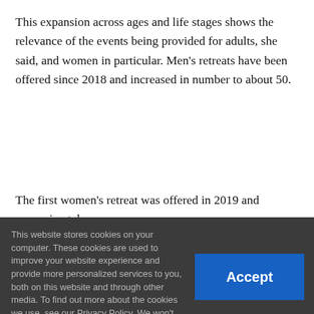This expansion across ages and life stages shows the relevance of the events being provided for adults, she said, and women in particular. Men's retreats have been offered since 2018 and increased in number to about 50.
The first women's retreat was offered in 2019 and approximately
This website stores cookies on your computer. These cookies are used to improve your website experience and provide more personalized services to you, both on this website and through other media. To find out more about the cookies we use, see our Privacy Policy. We won't track your information when you visit our site. But in order to comply with your preferences, we'll have to use just one tiny cookie so that you're not asked to make this choice again. Settings ∨